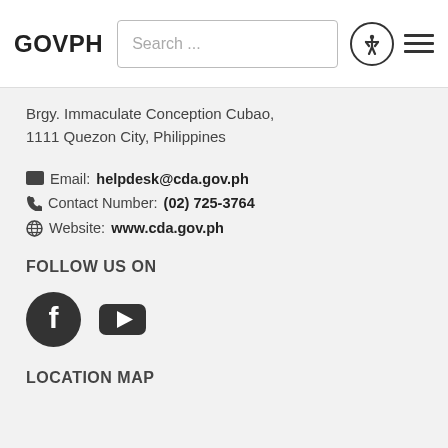GOVPH  Search ...
Brgy. Immaculate Conception Cubao, 1111 Quezon City, Philippines
Email: helpdesk@cda.gov.ph
Contact Number: (02) 725-3764
Website: www.cda.gov.ph
FOLLOW US ON
[Figure (illustration): Facebook and YouTube social media icons]
LOCATION MAP